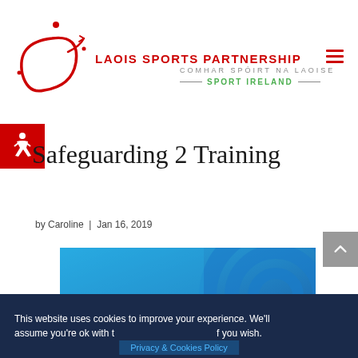[Figure (logo): Laois Sports Partnership logo with red swoosh graphic, text 'LAOIS SPORTS PARTNERSHIP', 'COMHAR SPÓIRT NA LAOISE', and 'SPORT IRELAND' in green with decorative lines]
Safeguarding 2 Training
by Caroline | Jan 16, 2019
[Figure (photo): Blue Sport Ireland Ethics training materials image with circular design elements]
This website uses cookies to improve your experience. We'll assume you're ok with this, but you can opt-out if you wish.
Privacy & Cookies Policy